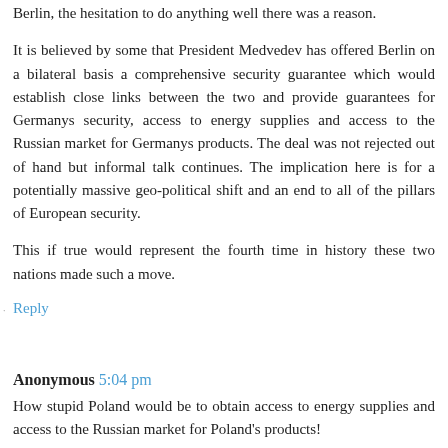Berlin, the hesitation to do anything well there was a reason.
It is believed by some that President Medvedev has offered Berlin on a bilateral basis a comprehensive security guarantee which would establish close links between the two and provide guarantees for Germanys security, access to energy supplies and access to the Russian market for Germanys products. The deal was not rejected out of hand but informal talk continues. The implication here is for a potentially massive geo-political shift and an end to all of the pillars of European security.
This if true would represent the fourth time in history these two nations made such a move.
Reply
Anonymous 5:04 pm
How stupid Poland would be to obtain access to energy supplies and access to the Russian market for Poland's products!